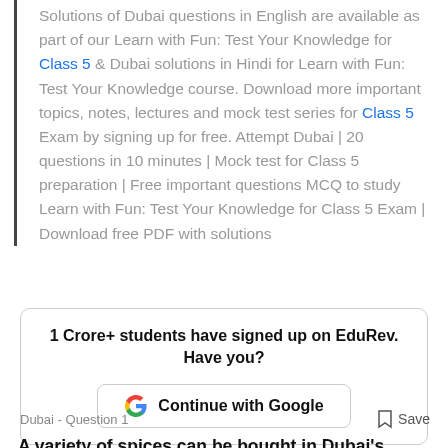Solutions of Dubai questions in English are available as part of our Learn with Fun: Test Your Knowledge for Class 5 & Dubai solutions in Hindi for Learn with Fun: Test Your Knowledge course. Download more important topics, notes, lectures and mock test series for Class 5 Exam by signing up for free. Attempt Dubai | 20 questions in 10 minutes | Mock test for Class 5 preparation | Free important questions MCQ to study Learn with Fun: Test Your Knowledge for Class 5 Exam | Download free PDF with solutions
[Figure (infographic): Promotional signup box: '1 Crore+ students have signed up on EduRev. Have you?' with a 'Continue with Google' button featuring the Google G logo.]
Dubai - Question 1
Save
A variety of spices can be bought in Dubai's